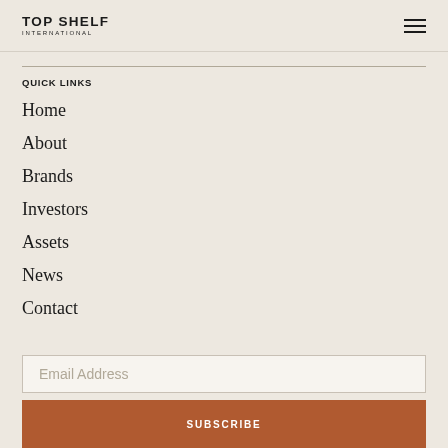TOP SHELF INTERNATIONAL
QUICK LINKS
Home
About
Brands
Investors
Assets
News
Contact
Email Address
SUBSCRIBE